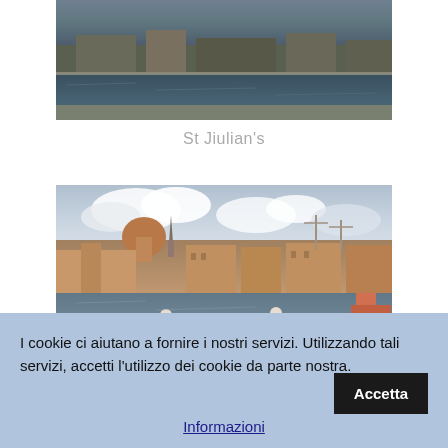[Figure (photo): Aerial or waterfront view of St Julian's Malta showing a promenade and sea]
St Jiulian's
[Figure (photo): Waterfront cityscape of Valletta Malta with domed church and buildings reflected in the bay]
I cookie ci aiutano a fornire i nostri servizi. Utilizzando tali servizi, accetti l'utilizzo dei cookie da parte nostra.
Accetta
Informazioni